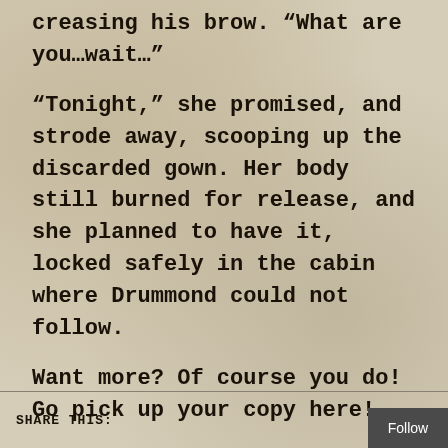creasing his brow. “What are you…wait…”
“Tonight,” she promised, and strode away, scooping up the discarded gown. Her body still burned for release, and she planned to have it, locked safely in the cabin where Drummond could not follow.
Want more? Of course you do! Go pick up your copy here!
SHARE THIS: